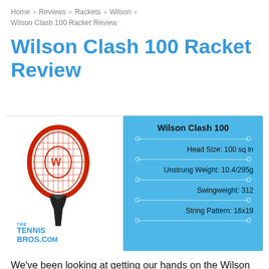Home > Reviews > Rackets > Wilson > Wilson Clash 100 Racket Review
Wilson Clash 100 Racket Review
[Figure (photo): Wilson Clash 100 tennis racket image alongside an info box showing specs: Head Size 100 sq in, Unstrung Weight 10.4/295g, Swingweight 312, String Pattern 16x19. The Tennis Bros.com logo appears on the racket side.]
We've been looking at getting our hands on the Wilson Clash 100 for a while now because